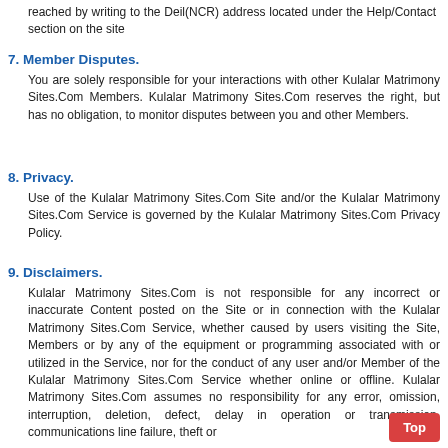reached by writing to the Deil(NCR) address located under the Help/Contact section on the site
7. Member Disputes.
You are solely responsible for your interactions with other Kulalar Matrimony Sites.Com Members. Kulalar Matrimony Sites.Com reserves the right, but has no obligation, to monitor disputes between you and other Members.
8. Privacy.
Use of the Kulalar Matrimony Sites.Com Site and/or the Kulalar Matrimony Sites.Com Service is governed by the Kulalar Matrimony Sites.Com Privacy Policy.
9. Disclaimers.
Kulalar Matrimony Sites.Com is not responsible for any incorrect or inaccurate Content posted on the Site or in connection with the Kulalar Matrimony Sites.Com Service, whether caused by users visiting the Site, Members or by any of the equipment or programming associated with or utilized in the Service, nor for the conduct of any user and/or Member of the Kulalar Matrimony Sites.Com Service whether online or offline. Kulalar Matrimony Sites.Com assumes no responsibility for any error, omission, interruption, deletion, defect, delay in operation or transmission, communications line failure, theft or